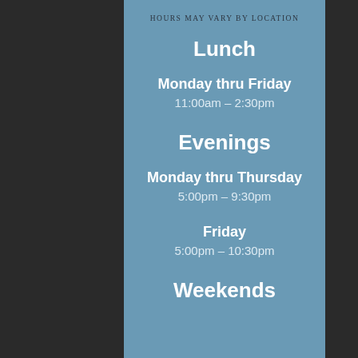Hours May Vary by Location
Lunch
Monday thru Friday
11:00am – 2:30pm
Evenings
Monday thru Thursday
5:00pm – 9:30pm
Friday
5:00pm – 10:30pm
Weekends